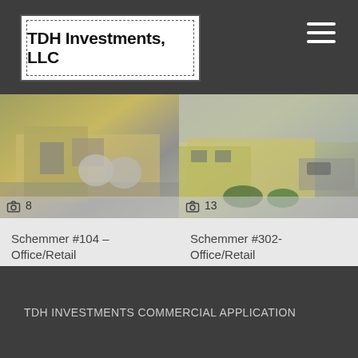TDH Investments, LLC
[Figure (photo): Exterior photo of office/retail building Schemmer #104, showing entrance area with chairs and satellite dishes. Photo count: 8]
[Figure (photo): Aerial/street view of office/retail building Schemmer #302, showing parking lot and landscaping. Photo count: 13]
Schemmer #104 – Office/Retail
Call for price
454 sq ft
Schemmer #302- Office/Retail
Call for price
747 sq ft
TDH INVESTMENTS COMMERCIAL APPLICATION